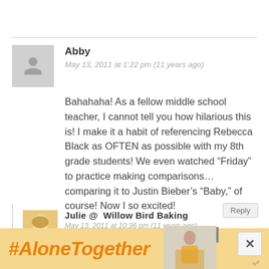Abby
May 13, 2011 at 1:22 pm (11 years ago)
Bahahaha! As a fellow middle school teacher, I cannot tell you how hilarious this is! I make it a habit of referencing Rebecca Black as OFTEN as possible with my 8th grade students! We even watched “Friday” to practice making comparisons...comparing it to Justin Bieber’s “Baby,” of course! Now I so excited!
Reply
Julie @  Willow Bird Baking
May 13, 2011 at 10:36 pm (11 years ago)
LOLLL Abby, I’m so glad I’m not the only one. There’s just something in
#AloneTogether